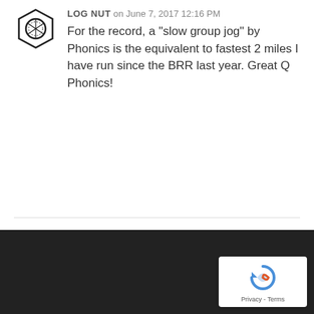[Figure (illustration): A black and white illustration of a hex nut (bolt nut) icon]
LOG NUT on June 7, 2017 12:16 PM
For the record, a "slow group jog" by Phonics is the equivalent to fastest 2 miles I have run since the BRR last year. Great Q Phonics!
Nothing yet.
[Figure (logo): Google reCAPTCHA badge with recaptcha icon and Privacy - Terms text]